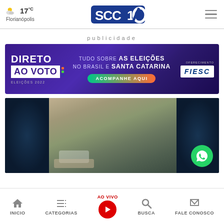17°C Florianópolis — SCC10 — menu
publicidade
[Figure (infographic): Advertisement banner: DIRETO AO VOTO — ELEIÇÕES 2022 — TUDO SOBRE AS ELEIÇÕES NO BRASIL E SANTA CATARINA — ACOMPANHE AQUI — FIESC sponsor]
[Figure (screenshot): Video strip showing three panels: dark panel left, outdoor street scene center, dark panel right with WhatsApp button overlay]
INICIO | CATEGORIAS | AO VIVO | BUSCA | FALE CONOSCO